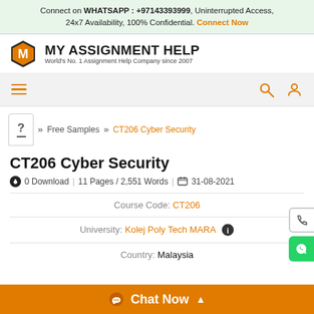Connect on WHATSAPP : +97143393999, Uninterrupted Access, 24x7 Availability, 100% Confidential. Connect Now
[Figure (logo): MY ASSIGNMENT HELP logo with orange hexagon M icon. World's No. 1 Assignment Help Company since 2007]
[Figure (screenshot): Navigation bar with hamburger menu, search icon, and user icon]
Free Samples >> CT206 Cyber Security
CT206 Cyber Security
0 Download | 11 Pages / 2,551 Words | 31-08-2021
Course Code: CT206
University: Kolej Poly Tech MARA
Country: Malaysia
Chat Now